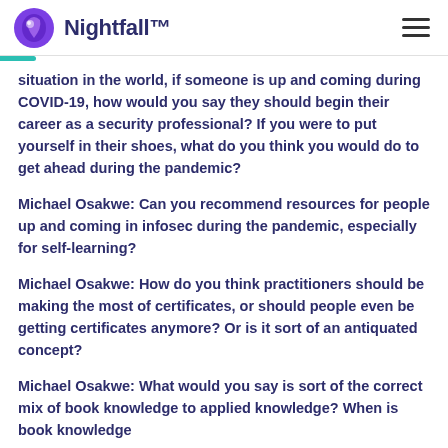Nightfall™
situation in the world, if someone is up and coming during COVID-19, how would you say they should begin their career as a security professional? If you were to put yourself in their shoes, what do you think you would do to get ahead during the pandemic?
Michael Osakwe: Can you recommend resources for people up and coming in infosec during the pandemic, especially for self-learning?
Michael Osakwe: How do you think practitioners should be making the most of certificates, or should people even be getting certificates anymore? Or is it sort of an antiquated concept?
Michael Osakwe: What would you say is sort of the correct mix of book knowledge to applied knowledge? When is book knowledge